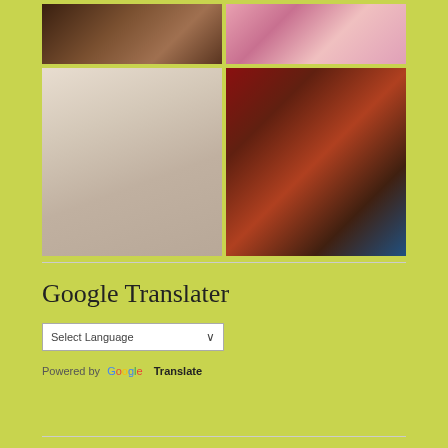[Figure (photo): Grid of four images: top-left shows a decorative/artistic book or frame with dark ornate border; top-right shows a floral arrangement with pink flowers; bottom-left shows a page of calligraphic or illuminated text manuscript; bottom-right shows an artistic painting with text overlay, fiery colors]
Google Translater
[Figure (screenshot): Select Language dropdown widget]
Powered by Google Translate